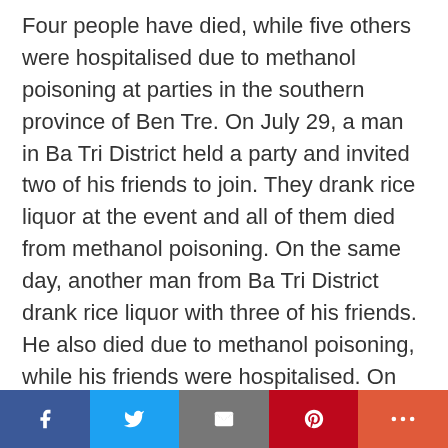Four people have died, while five others were hospitalised due to methanol poisoning at parties in the southern province of Ben Tre. On July 29, a man in Ba Tri District held a party and invited two of his friends to join. They drank rice liquor at the event and all of them died from methanol poisoning. On the same day, another man from Ba Tri District drank rice liquor with three of his friends. He also died due to methanol poisoning, while his friends were hospitalised. On August 17, methanol poisoning forced two men in Ba Tri to be hospitalised after they were intoxicated for five consecutive days. They were taken to hospital in critical condition and had to use ventilators. They
[Figure (infographic): Social media sharing bar with Facebook, Twitter, Email, Pinterest, and More buttons]